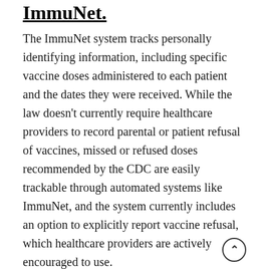ImmuNet.
The ImmuNet system tracks personally identifying information, including specific vaccine doses administered to each patient and the dates they were received. While the law doesn't currently require healthcare providers to record parental or patient refusal of vaccines, missed or refused doses recommended by the CDC are easily trackable through automated systems like ImmuNet, and the system currently includes an option to explicitly report vaccine refusal, which healthcare providers are actively encouraged to use.
Who Has Access To ImmuNet Data?
The following public and private institutions may legally access ImmuNet data in accordance with